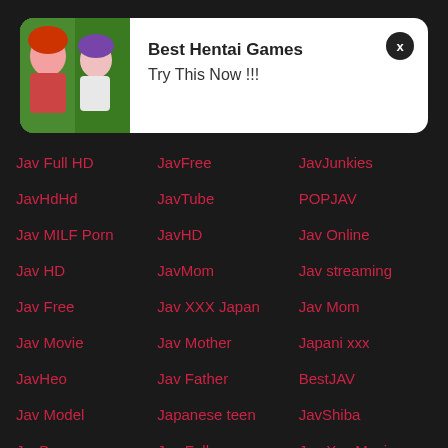[Figure (illustration): Ad popup with anime/hentai illustration showing two female characters, white background popup with close button]
Best Hentai Games
Try This Now !!!
Jav Full HD
JavFree
JavJunkies
JavHdHd
JavTube
POPJAV
Jav MILF Porn
JavHD
Jav Online
Jav HD
JavMom
Jav streaming
Jav Free
Jav XXX Japan
Jav Mom
Jav Movie
Jav Mother
Japani xxx
JavHeo
Jav Father
BestJAV
Jav Model
Japanese teen
JavShiba
JavBanana
Jav Full xxx
Jav Xxx Movie
Jav Movie Porn
JavBrother
Free Premium Porn
Japanese porn
Jav Full Online
Jav Movie